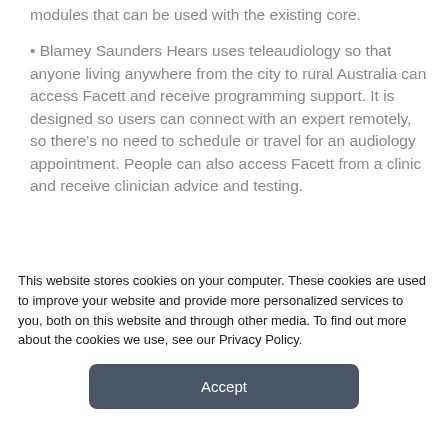modules that can be used with the existing core.
Blamey Saunders Hears uses teleaudiology so that anyone living anywhere from the city to rural Australia can access Facett and receive programming support. It is designed so users can connect with an expert remotely, so there's no need to schedule or travel for an audiology appointment. People can also access Facett from a clinic and receive clinician advice and testing.
[Figure (photo): Partial view of an image, cropped at bottom of visible area, showing a blurred/partially visible photograph.]
This website stores cookies on your computer. These cookies are used to improve your website and provide more personalized services to you, both on this website and through other media. To find out more about the cookies we use, see our Privacy Policy.